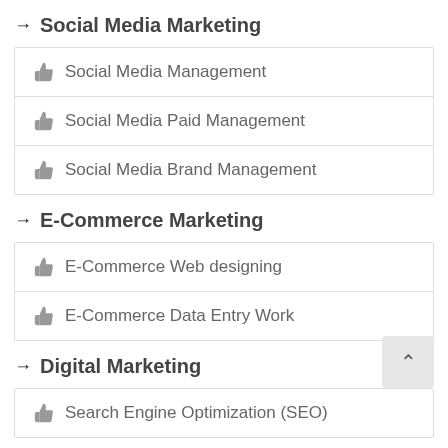→ Social Media Marketing
Social Media Management
Social Media Paid Management
Social Media Brand Management
→ E-Commerce Marketing
E-Commerce Web designing
E-Commerce Data Entry Work
→ Digital Marketing
Search Engine Optimization (SEO)